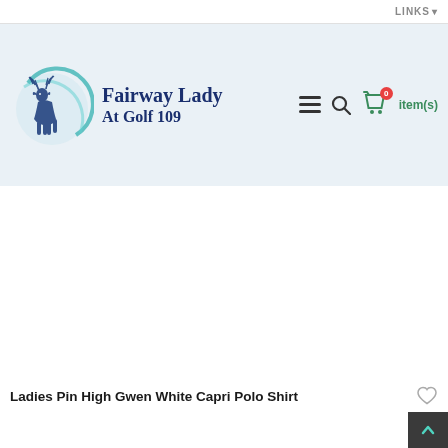LINKS ▼
[Figure (logo): Fairway Lady At Golf 109 logo with deer/antelope inside a teal circle, dark blue brand text]
Ladies Pin High Gwen White Capri Polo Shirt